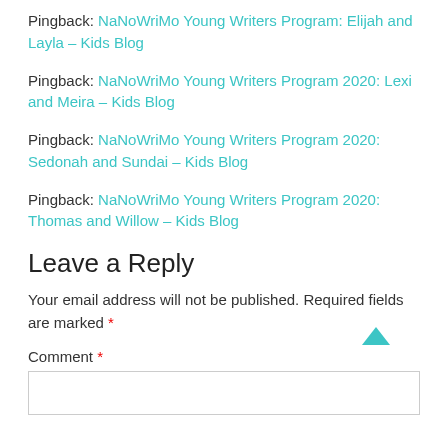Pingback: NaNoWriMo Young Writers Program: Elijah and Layla – Kids Blog
Pingback: NaNoWriMo Young Writers Program 2020: Lexi and Meira – Kids Blog
Pingback: NaNoWriMo Young Writers Program 2020: Sedonah and Sundai – Kids Blog
Pingback: NaNoWriMo Young Writers Program 2020: Thomas and Willow – Kids Blog
Leave a Reply
Your email address will not be published. Required fields are marked *
Comment *